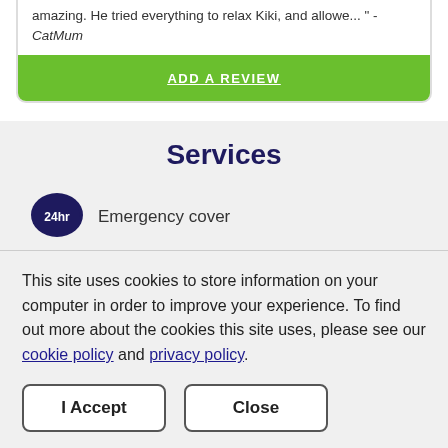amazing. He tried everything to relax Kiki, and allowe... " - CatMum
ADD A REVIEW
Services
Emergency cover
This site uses cookies to store information on your computer in order to improve your experience. To find out more about the cookies this site uses, please see our cookie policy and privacy policy.
I Accept
Close